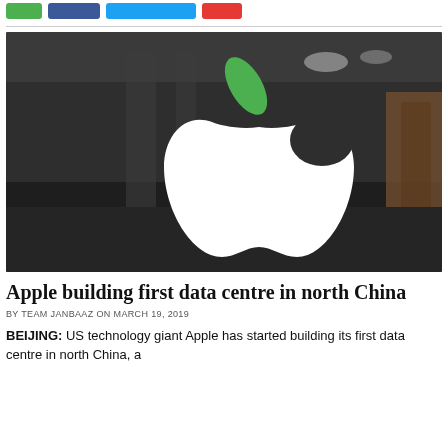[Figure (photo): Apple logo on glass storefront, blurred interior background, green leaf on the Apple logo]
Apple building first data centre in north China
BY TEAM JANBAAZ ON MARCH 19, 2019
BEIJING: US technology giant Apple has started building its first data centre in north China, a...